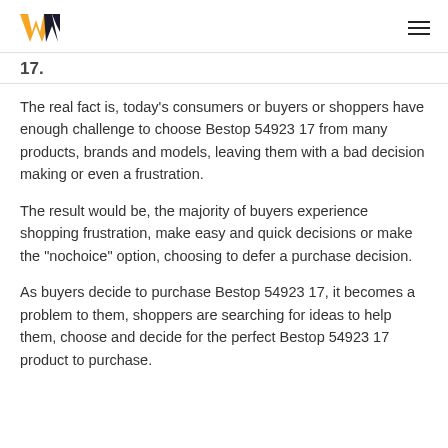W [logo] | hamburger menu
17.
The real fact is, today's consumers or buyers or shoppers have enough challenge to choose Bestop 54923 17 from many products, brands and models, leaving them with a bad decision making or even a frustration.
The result would be, the majority of buyers experience shopping frustration, make easy and quick decisions or make the "nochoice" option, choosing to defer a purchase decision.
As buyers decide to purchase Bestop 54923 17, it becomes a problem to them, shoppers are searching for ideas to help them, choose and decide for the perfect Bestop 54923 17 product to purchase.